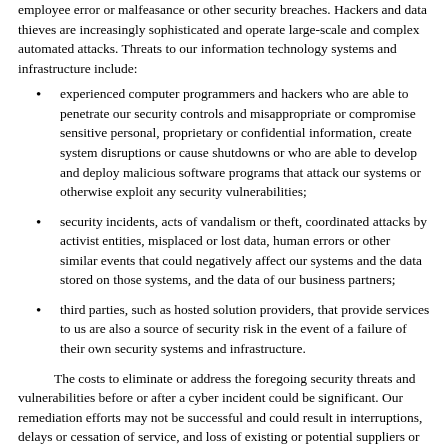employee error or malfeasance or other security breaches. Hackers and data thieves are increasingly sophisticated and operate large-scale and complex automated attacks. Threats to our information technology systems and infrastructure include:
experienced computer programmers and hackers who are able to penetrate our security controls and misappropriate or compromise sensitive personal, proprietary or confidential information, create system disruptions or cause shutdowns or who are able to develop and deploy malicious software programs that attack our systems or otherwise exploit any security vulnerabilities;
security incidents, acts of vandalism or theft, coordinated attacks by activist entities, misplaced or lost data, human errors or other similar events that could negatively affect our systems and the data stored on those systems, and the data of our business partners;
third parties, such as hosted solution providers, that provide services to us are also a source of security risk in the event of a failure of their own security systems and infrastructure.
The costs to eliminate or address the foregoing security threats and vulnerabilities before or after a cyber incident could be significant. Our remediation efforts may not be successful and could result in interruptions, delays or cessation of service, and loss of existing or potential suppliers or players. As threats related to cyber-attacks develop and grow, we may also find it necessary to make further investments to protect our data and infrastructure, which may impact our results of